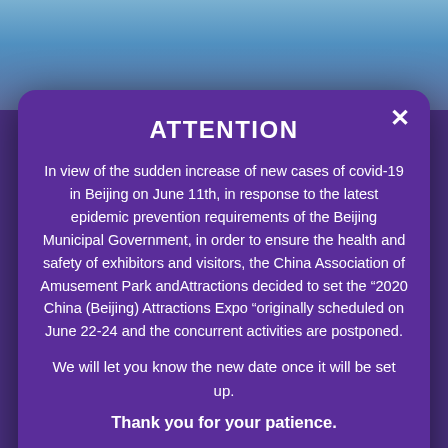[Figure (screenshot): Background showing a Disney castle at top and article text about Walt Disney World TRON Lightcycles partially visible behind a modal popup dialog.]
ATTENTION
In view of the sudden increase of new cases of covid-19 in Beijing on June 11th, in response to the latest epidemic prevention requirements of the Beijing Municipal Government, in order to ensure the health and safety of exhibitors and visitors, the China Association of Amusement Park and Attractions decided to set the ‘2020 China (Beijing) Attractions Expo ‘originally scheduled on June 22-24 and the concurrent activities are postponed.
We will let you know the new date once it will be set up.
Thank you for your patience.
GO IT!